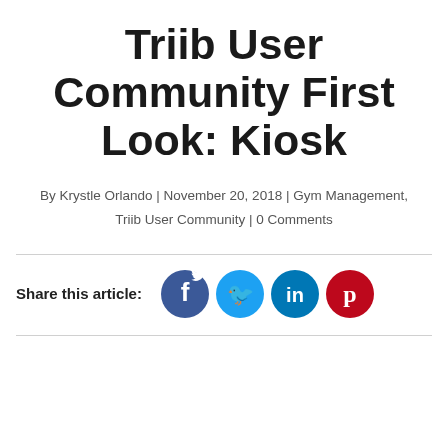Triib User Community First Look: Kiosk
By Krystle Orlando | November 20, 2018 | Gym Management, Triib User Community | 0 Comments
[Figure (infographic): Social share icons: Facebook (blue), Twitter (light blue), LinkedIn (dark blue), Pinterest (red)]